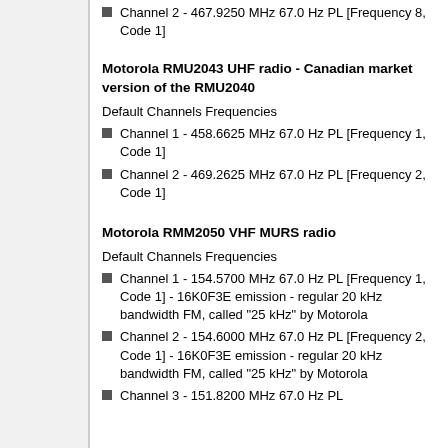Channel 2 - 467.9250 MHz 67.0 Hz PL [Frequency 8, Code 1]
Motorola RMU2043 UHF radio - Canadian market version of the RMU2040
Default Channels Frequencies
Channel 1 - 458.6625 MHz 67.0 Hz PL [Frequency 1, Code 1]
Channel 2 - 469.2625 MHz 67.0 Hz PL [Frequency 2, Code 1]
Motorola RMM2050 VHF MURS radio
Default Channels Frequencies
Channel 1 - 154.5700 MHz 67.0 Hz PL [Frequency 1, Code 1] - 16K0F3E emission - regular 20 kHz bandwidth FM, called "25 kHz" by Motorola
Channel 2 - 154.6000 MHz 67.0 Hz PL [Frequency 2, Code 1] - 16K0F3E emission - regular 20 kHz bandwidth FM, called "25 kHz" by Motorola
Channel 3 - 151.8200 MHz 67.0 Hz PL [Frequency ...